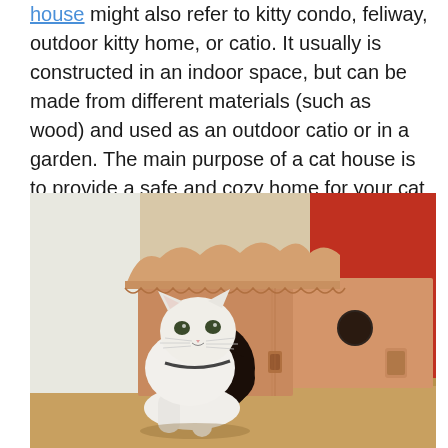A cat house might also refer to kitty condo, feliway, outdoor kitty home, or catio. It usually is constructed in an indoor space, but can be made from different materials (such as wood) and used as an outdoor catio or in a garden. The main purpose of a cat house is to provide a safe and cozy home for your cat so that you can spend more quality time with it.
[Figure (photo): A white cat emerging from a circular entrance hole in a cardboard cat house shaped like a small building with a scalloped roof, sitting on a wooden floor with a red wall visible in the background.]